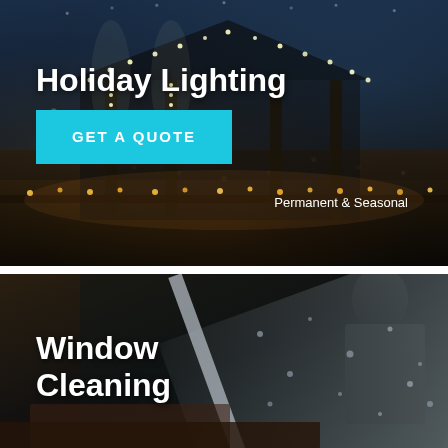[Figure (photo): Nighttime photo of a house decorated with holiday string lights on the columns and along a fence line, taken at dusk with a blue sky and warm amber lighting from the decorations.]
Holiday Lighting
GET A QUOTE
Permanent & Seasonal
[Figure (photo): Close-up photo of a person cleaning a window with a squeegee. Water droplets are visible on the glass surface. The image is dark and atmospheric.]
Window Cleaning